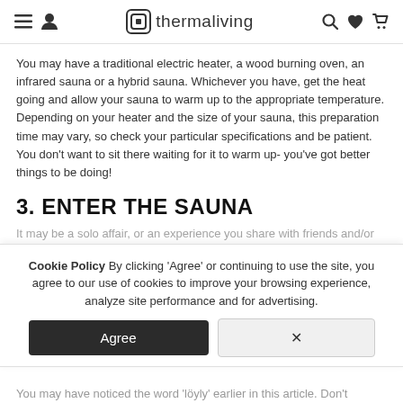thermaliving — navigation bar with hamburger menu, user icon, logo, search, heart, cart icons
You may have a traditional electric heater, a wood burning oven, an infrared sauna or a hybrid sauna. Whichever you have, get the heat going and allow your sauna to warm up to the appropriate temperature. Depending on your heater and the size of your sauna, this preparation time may vary, so check your particular specifications and be patient. You don't want to sit there waiting for it to warm up- you've got better things to be doing!
3. ENTER THE SAUNA
It may be a solo affair, or an experience you share with friends and/or
Cookie Policy By clicking 'Agree' or continuing to use the site, you agree to our use of cookies to improve your browsing experience, analyze site performance and for advertising.
You may have noticed the word 'löyly' earlier in this article. Don't